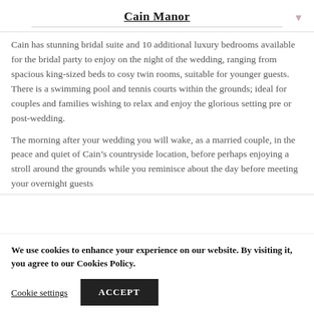Cain Manor
Cain has stunning bridal suite and 10 additional luxury bedrooms available for the bridal party to enjoy on the night of the wedding, ranging from spacious king-sized beds to cosy twin rooms, suitable for younger guests. There is a swimming pool and tennis courts within the grounds; ideal for couples and families wishing to relax and enjoy the glorious setting pre or post-wedding.
The morning after your wedding you will wake, as a married couple, in the peace and quiet of Cain’s countryside location, before perhaps enjoying a stroll around the grounds while you reminisce about the day before meeting your overnight guests
We use cookies to enhance your experience on our website. By visiting it, you agree to our Cookies Policy.
Cookie settings
ACCEPT